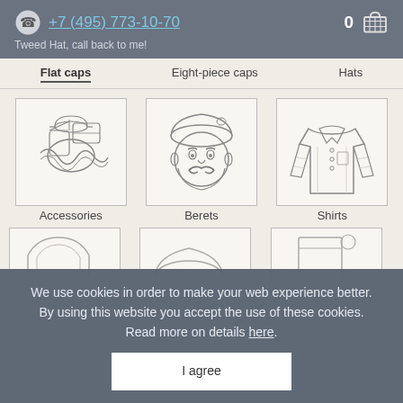+7 (495) 773-10-70  0  [cart icon]
Tweed Hat, call back to me!
Flat caps  Eight-piece caps  Hats
[Figure (illustration): Sketch illustration of accessories (caps, scarves, bags)]
Accessories
[Figure (illustration): Sketch illustration of a man wearing a beret with a mustache]
Berets
[Figure (illustration): Sketch illustration of a long-sleeve button-up shirt]
Shirts
We use cookies in order to make your web experience better. By using this website you accept the use of these cookies. Read more on details here.
I agree